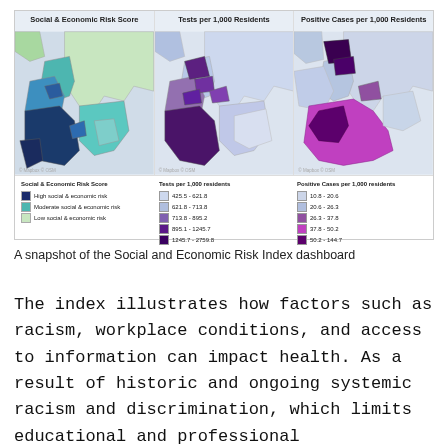[Figure (map): Dashboard showing three choropleth maps side by side: (1) Social & Economic Risk Score with blue/teal/green color scale, (2) Tests per 1,000 Residents with light purple to dark purple scale, (3) Positive Cases per 1,000 Residents with light blue to dark purple/magenta scale. Each map shows the same geographic region (appears to be a U.S. county/metro area). Below each map is a legend with color swatches and value ranges.]
A snapshot of the Social and Economic Risk Index dashboard
The index illustrates how factors such as racism, workplace conditions, and access to information can impact health. As a result of historic and ongoing systemic racism and discrimination, which limits educational and professional opportunities, Black, Indigenous and People of Color are